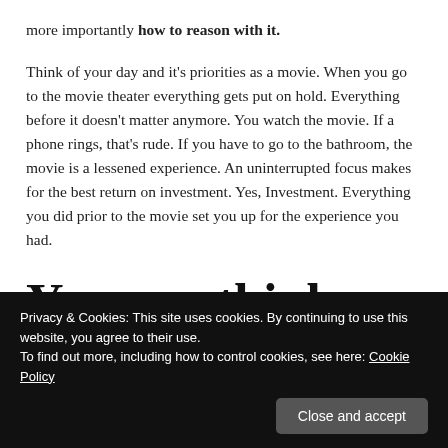more importantly how to reason with it.
Think of your day and it's priorities as a movie. When you go to the movie theater everything gets put on hold. Everything before it doesn't matter anymore. You watch the movie. If a phone rings, that's rude. If you have to go to the bathroom, the movie is a lessened experience. An uninterrupted focus makes for the best return on investment. Yes, Investment. Everything you did prior to the movie set you up for the experience you had.
You can think about your
the other things get done. When it's showtime, you can
Privacy & Cookies: This site uses cookies. By continuing to use this website, you agree to their use. To find out more, including how to control cookies, see here: Cookie Policy